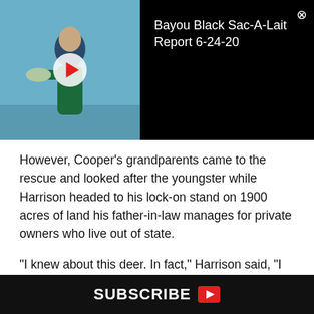[Figure (screenshot): Video thumbnail showing a fisherman holding a fish, dark outdoors background. Video title overlay reads 'Bayou Black Sac-A-Lait Report 6-24-20' with a play button and close (X) button.]
However, Cooper’s grandparents came to the rescue and looked after the youngster while Harrison headed to his lock-on stand on 1900 acres of land his father-in-law manages for private owners who live out of state.
“I knew about this deer. In fact,” Harrison said, “I let him go last season when he was a 3 ½-year-old 8-point that measured probably 120 inches or so.”
The property Harrison was hunting in Union Parish is a
SUBSCRIBE